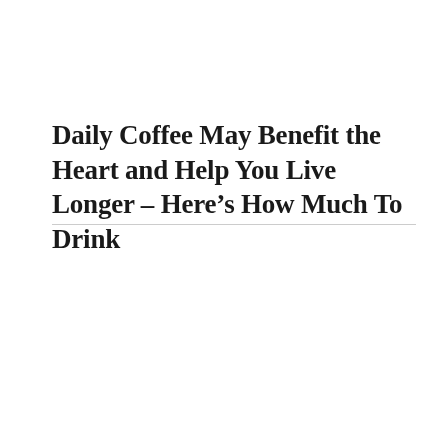Daily Coffee May Benefit the Heart and Help You Live Longer – Here's How Much To Drink